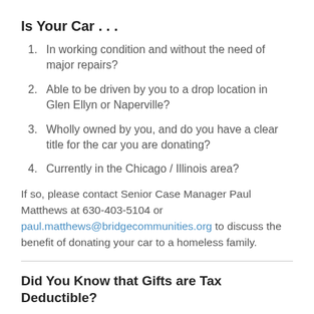Is Your Car . . .
In working condition and without the need of major repairs?
Able to be driven by you to a drop location in Glen Ellyn or Naperville?
Wholly owned by you, and do you have a clear title for the car you are donating?
Currently in the Chicago / Illinois area?
If so, please contact Senior Case Manager Paul Matthews at 630-403-5104 or paul.matthews@bridgecommunities.org to discuss the benefit of donating your car to a homeless family.
Did You Know that Gifts are Tax Deductible?